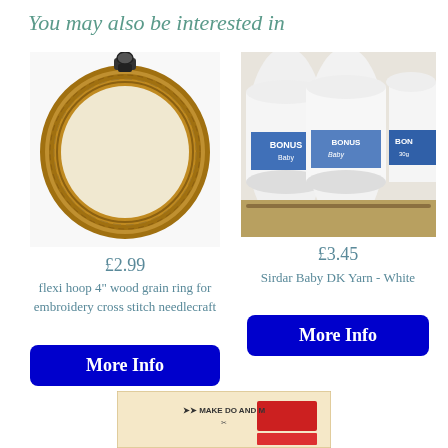You may also be interested in
[Figure (photo): A wooden flexi embroidery hoop ring with a metal clip at the top, oval/circular shape with wood grain texture]
£2.99
flexi hoop 4" wood grain ring for embroidery cross stitch needlecraft
[Figure (photo): Three skeins of white Sirdar Baby Bonus DK Yarn arranged in a box, with blue and white labels]
£3.45
Sirdar Baby DK Yarn - White
[Figure (photo): Partial image at bottom showing a 'Make Do and Mend' themed product with red and cream colors]